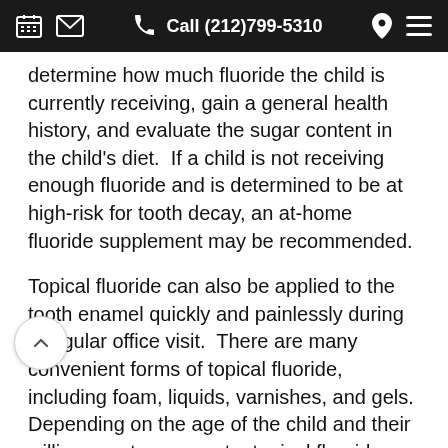📅 ✉ Call (212)799-5310 📍 ≡
determine how much fluoride the child is currently receiving, gain a general health history, and evaluate the sugar content in the child's diet.  If a child is not receiving enough fluoride and is determined to be at high-risk for tooth decay, an at-home fluoride supplement may be recommended.
Topical fluoride can also be applied to the tooth enamel quickly and painlessly during a regular office visit.  There are many convenient forms of topical fluoride, including foam, liquids, varnishes, and gels.  Depending on the age of the child and their willingness to cooperate, topical fluoride can either be held on the teeth for several minutes in specialized trays or painted on with a brush.